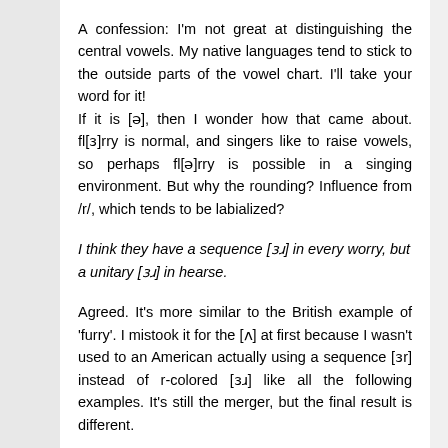A confession: I'm not great at distinguishing the central vowels. My native languages tend to stick to the outside parts of the vowel chart. I'll take your word for it!
If it is [ə], then I wonder how that came about. fl[ɜ]rry is normal, and singers like to raise vowels, so perhaps fl[ə]rry is possible in a singing environment. But why the rounding? Influence from /r/, which tends to be labialized?
I think they have a sequence [ɜɹ] in every worry, but a unitary [ɜɹ] in hearse.
Agreed. It's more similar to the British example of 'furry'. I mistook it for the [ʌ] at first because I wasn't used to an American actually using a sequence [ɜr] instead of r-colored [ɜɹ] like all the following examples. It's still the merger, but the final result is different.
...These are both rhotic vowels, but they don't